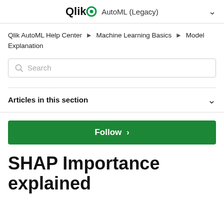Qlik AutoML (Legacy)
Qlik AutoML Help Center › Machine Learning Basics › Model Explanation
Search
Articles in this section
Follow
SHAP Importance explained